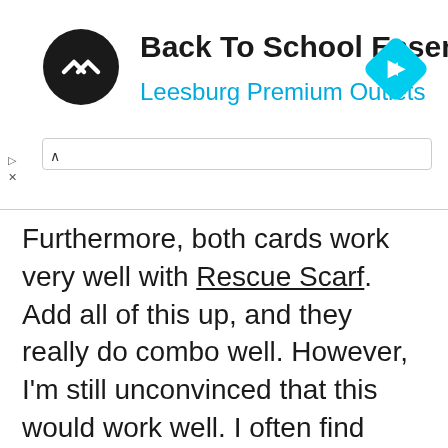[Figure (screenshot): Ad banner for Back To School Essentials at Leesburg Premium Outlets, showing a circular logo with double-arrow symbol, text title, blue subtitle, a cyan navigation diamond icon on the right, and a search bar with chevron below.]
Furthermore, both cards work very well with Rescue Scarf. Add all of this up, and they really do combo well. However, I'm still unconvinced that this would work well. I often find Garbodor useless; my opponents usually don't set up enough to have Abilities worth locking. And fitting Revives and Hammers is a major struggle; it requires dropping other